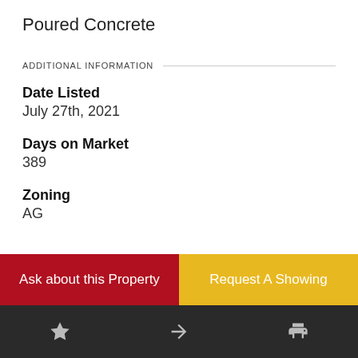Poured Concrete
ADDITIONAL INFORMATION
Date Listed
July 27th, 2021
Days on Market
389
Zoning
AG
Ask about this Property
Request A Showing